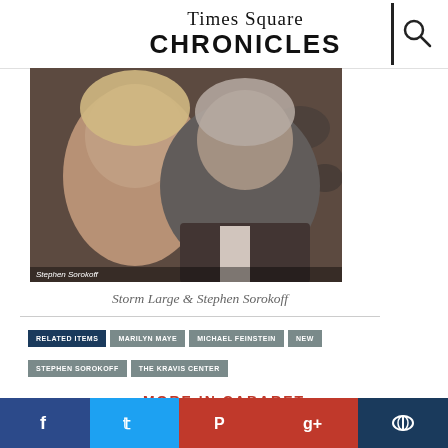Times Square CHRONICLES
[Figure (photo): Two people posing together: a blonde woman on the left and an older man with grey hair on the right. Photo credit: Stephen Sorokoff.]
Storm Large & Stephen Sorokoff
RELATED ITEMS
MARILYN MAYE
MICHAEL FEINSTEIN
NEW
STEPHEN SOROKOFF
THE KRAVIS CENTER
MORE IN CABARET